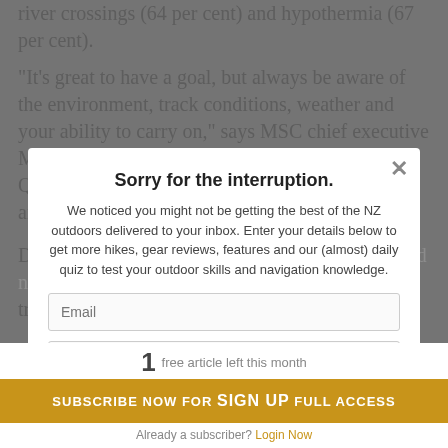river crossings (64 per cent) and hypothermia (67 per cent).
“It’s great to have a goal, but always be aware of the environment, track conditions, weather and your ability to carry on,” says MSC chief executive Mike Daisley. “It’s not a failure to turn back. Question if your ‘summit fever’ is the reason you aren’t turning back.”
Daisley ... emergency plan for each day of a tramp.
“Points on the track should be determined where you will stop to assess whether or not to continue ahead,” he
Sorry for the interruption.
We noticed you might not be getting the best of the NZ outdoors delivered to your inbox. Enter your details below to get more hikes, gear reviews, features and our (almost) daily quiz to test your outdoor skills and navigation knowledge.
Email
Name
1 free article left this month
SUBSCRIBE NOW FOR FULL ACCESS
SIGN UP
Already a subscriber? Login Now